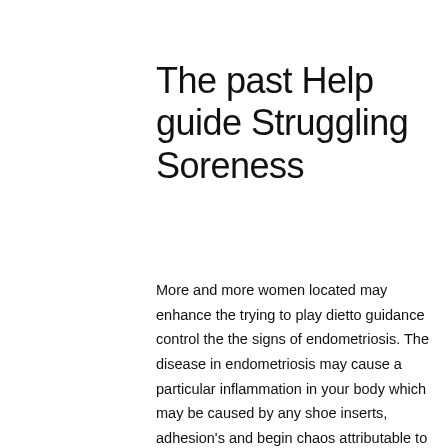The past Help guide Struggling Soreness
More and more women located may enhance the trying to play dietto guidance control the the signs of endometriosis. The disease in endometriosis may cause a particular inflammation in your body which may be caused by any shoe inserts, adhesion's and begin chaos attributable to the condition. IStock.com/oxyzayA 2014 research personalised inside Log for Health care Food